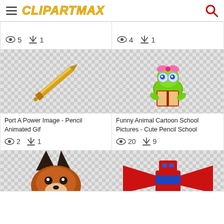ClipArtMax
[Figure (screenshot): Two partial clipart cards at top: left shows views=5 downloads=1, right shows views=4 downloads=1]
[Figure (illustration): Gold/yellow pencil or syringe diagonal on checkered transparent background]
Port A Power Image - Pencil Animated Gif
2  1
[Figure (illustration): Funny cartoon green caterpillar with pink bow, big glasses, reading a book, on checkered background]
Funny Animal Cartoon School Pictures - Cute Pencil School
20  9
[Figure (illustration): Partial bottom card left: cartoon fox/wolf head brown on checkered background]
[Figure (illustration): Partial bottom card right: robot/mech figure red and blue on checkered background]